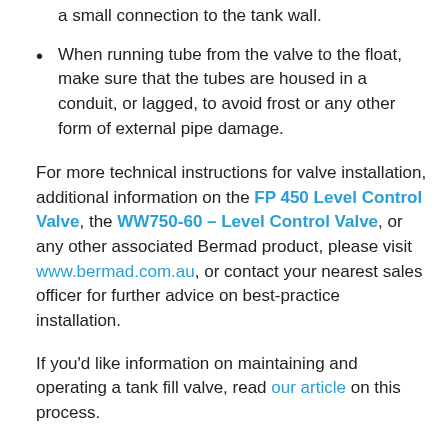a small connection to the tank wall.
When running tube from the valve to the float, make sure that the tubes are housed in a conduit, or lagged, to avoid frost or any other form of external pipe damage.
For more technical instructions for valve installation, additional information on the FP 450 Level Control Valve, the WW750-60 – Level Control Valve, or any other associated Bermad product, please visit www.bermad.com.au, or contact your nearest sales officer for further advice on best-practice installation.
If you'd like information on maintaining and operating a tank fill valve, read our article on this process.